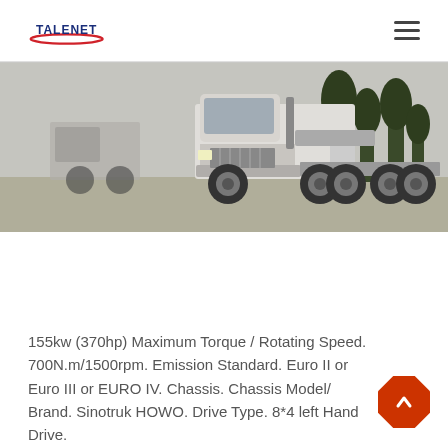TALENET
[Figure (photo): Front/side view of a white Sinotruk HOWO heavy-duty truck tractor parked outdoors with trees in the background.]
155kw (370hp) Maximum Torque / Rotating Speed. 700N.m/1500rpm. Emission Standard. Euro II or Euro III or EURO IV. Chassis. Chassis Model/ Brand. Sinotruk HOWO. Drive Type. 8*4 left Hand Drive.